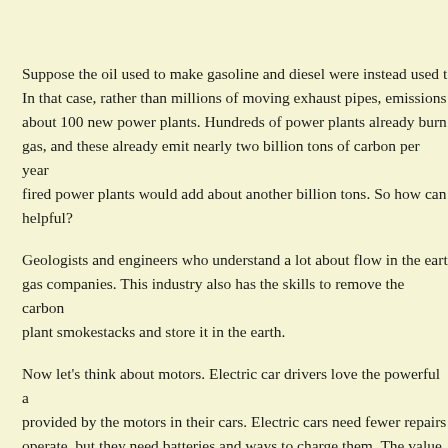Suppose the oil used to make gasoline and diesel were instead used t... In that case, rather than millions of moving exhaust pipes, emissions about 100 new power plants. Hundreds of power plants already burn gas, and these already emit nearly two billion tons of carbon per year fired power plants would add about another billion tons. So how can helpful?
Geologists and engineers who understand a lot about flow in the eart gas companies. This industry also has the skills to remove the carbon plant smokestacks and store it in the earth.
Now let's think about motors. Electric car drivers love the powerful a provided by the motors in their cars. Electric cars need fewer repairs operate, but they need batteries and ways to charge them. The value o combustion to battery usage will depend on which option causes less damage.
If electrifying road, rail, and farm vehicles seems possible, what abo by sea? It would not be easy to plug in a jet plane in flight or a cruise well, military needs for remote energy cannot rely on power plants. F